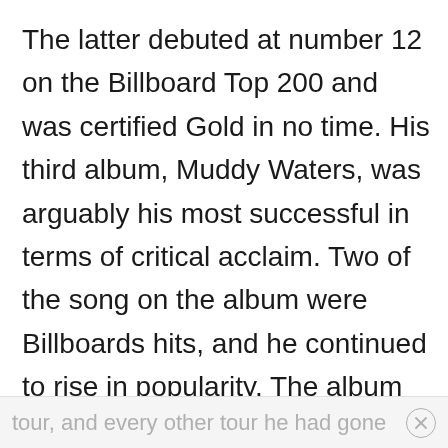The latter debuted at number 12 on the Billboard Top 200 and was certified Gold in no time. His third album, Muddy Waters, was arguably his most successful in terms of critical acclaim. Two of the song on the album were Billboards hits, and he continued to rise in popularity. The album was so big that it was featured in the video game Grand Theft Auto: Liberty City Stories. After releasing his third album, he went on tour across the countries. During this
tour, and every other tour he had gone